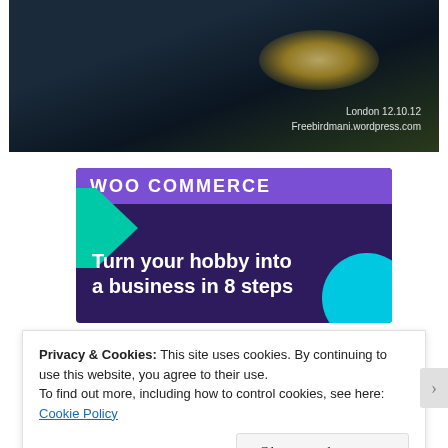[Figure (photo): Dark photo of a surface with a bright glow/light source. Watermark text reads 'London 12.10.12' and 'Freebirdmani.wordpress.com' in the lower right corner.]
[Figure (screenshot): WooCommerce advertisement banner with dark purple background, teal triangle shape on left, cyan circle on right, WooCommerce logo at top, text reads 'Turn your hobby into a business in 8 steps']
Privacy & Cookies: This site uses cookies. By continuing to use this website, you agree to their use.
To find out more, including how to control cookies, see here: Cookie Policy
Close and accept